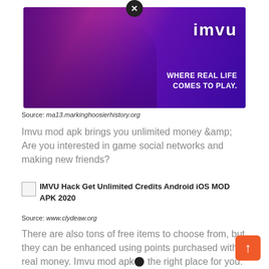[Figure (photo): IMVU advertisement banner showing animated 3D characters in a purple-lit room with 'imvu WHERE REAL LIFE COMES TO PLAY.' text]
Source: ma13.markinghoosierhistory.org
Imvu mod apk brings you unlimited money &amp; Are you interested in game social networks and making new friends?
[Figure (screenshot): Small thumbnail image placeholder followed by text: IMVU Hack Get Unlimited Credits Android iOS MOD APK 2020]
Source: www.clydeaw.org
There are also tons of free items to choose from, but they can be enhanced using points purchased with real money. Imvu mod apk the right place for you.